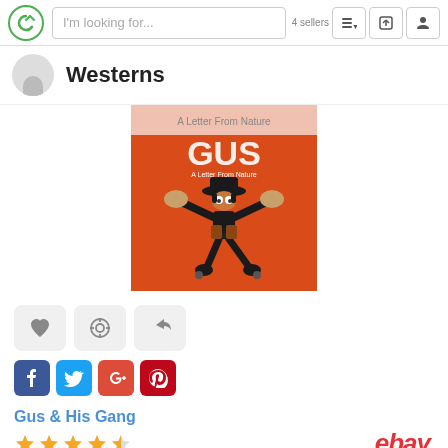I'm looking for...
Westerns
[Figure (photo): Book cover for 'Gus & His Gang' — orange background with cartoon cowboy character running with hands up. Title 'GUS' in white text, subtitle 'A Letter From Nature'.]
[Figure (screenshot): Action buttons: heart/favorite, target/aim, share arrow. Social media icons: Facebook, Twitter, Google+, Pinterest.]
Gus & His Gang
[Figure (other): Star rating: 3.5 out of 5 stars]
[Figure (logo): eBay logo in red italic text]
0  0  0